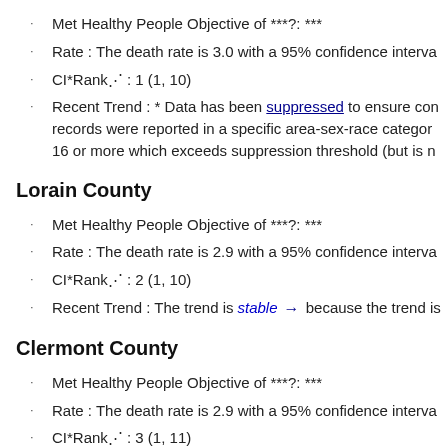Met Healthy People Objective of ***?: ***
Rate : The death rate is 3.0 with a 95% confidence interva
CI*Rank⋔ : 1 (1, 10)
Recent Trend : * Data has been suppressed to ensure conf records were reported in a specific area-sex-race category 16 or more which exceeds suppression threshold (but is n
Lorain County
Met Healthy People Objective of ***?: ***
Rate : The death rate is 2.9 with a 95% confidence interva
CI*Rank⋔ : 2 (1, 10)
Recent Trend : The trend is stable → because the trend is
Clermont County
Met Healthy People Objective of ***?: ***
Rate : The death rate is 2.9 with a 95% confidence interva
CI*Rank⋔ : 3 (1, 11)
Recent Trend : * Data has been suppressed to ensure cont